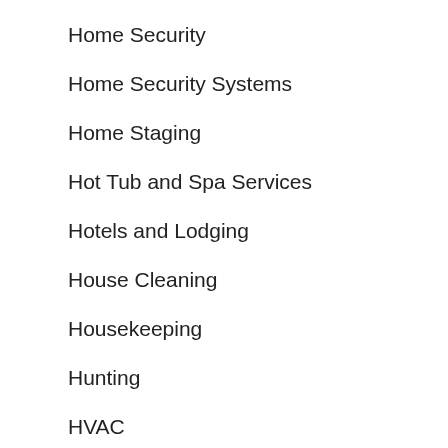Home Security
Home Security Systems
Home Staging
Hot Tub and Spa Services
Hotels and Lodging
House Cleaning
Housekeeping
Hunting
HVAC
Independent Living
Industrial
Inspections
Insulation
Insurance
Insurance - Auto